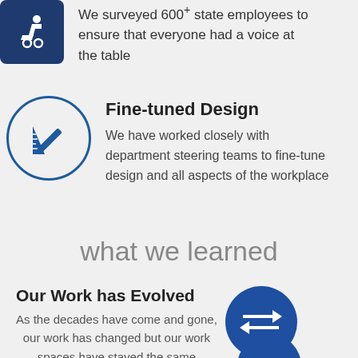We surveyed 600+ state employees to ensure that everyone had a voice at the table
Fine-tuned Design
We have worked closely with department steering teams to fine-tune design and all aspects of the workplace
what we learned
Our Work has Evolved
As the decades have come and gone, our work has changed but our work spaces have stayed the same
We're Much More Mobile